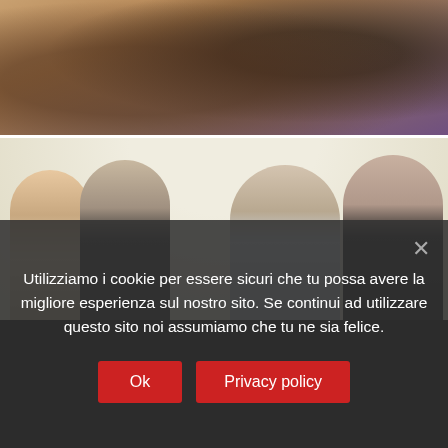[Figure (photo): Top portion of the page showing two photos: an upper close-up photo of hands (one holding a pen/marker near a reddish object), and a lower photo of four people in a room — two young Asian women on the left, a middle-aged man in a grey vest and pink shirt in the center, and an Asian woman in black on the right.]
Utilizziamo i cookie per essere sicuri che tu possa avere la migliore esperienza sul nostro sito. Se continui ad utilizzare questo sito noi assumiamo che tu ne sia felice.
Ok
Privacy policy